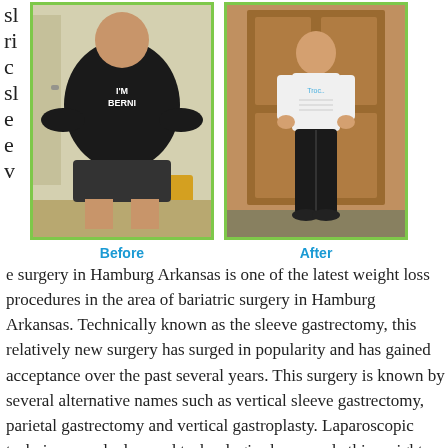sl
ri
c
sl
e
e
v
[Figure (photo): Before and after photos of a bariatric surgery patient. Left photo shows a heavy-set person wearing a black t-shirt that reads 'I'M BERNI', labeled 'Before'. Right photo shows the same person after surgery, now slim, wearing a white t-shirt and black leggings, labeled 'After'. Both photos have a green border.]
e surgery in Hamburg Arkansas is one of the latest weight loss procedures in the area of bariatric surgery in Hamburg Arkansas. Technically known as the sleeve gastrectomy, this relatively new surgery has surged in popularity and has gained acceptance over the past several years. This surgery is known by several alternative names such as vertical sleeve gastrectomy, parietal gastrectomy and vertical gastroplasty. Laparoscopic techniques and advanced technologies have made this weight loss surgery a safe and